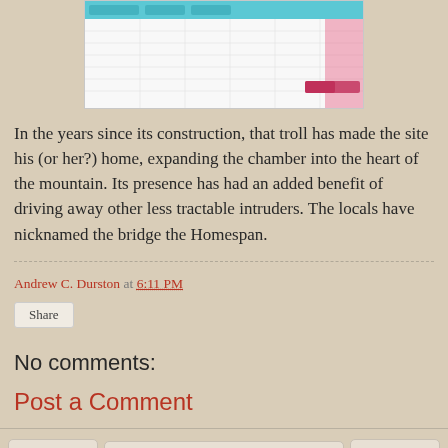[Figure (screenshot): Screenshot of a spreadsheet or calendar table with colored header and pink/red column, partially cropped]
In the years since its construction, that troll has made the site his (or her?) home, expanding the chamber into the heart of the mountain. Its presence has had an added benefit of driving away other less tractable intruders. The locals have nicknamed the bridge the Homespan.
Andrew C. Durston at 6:11 PM
Share
No comments:
Post a Comment
‹   Home   ›
View web version